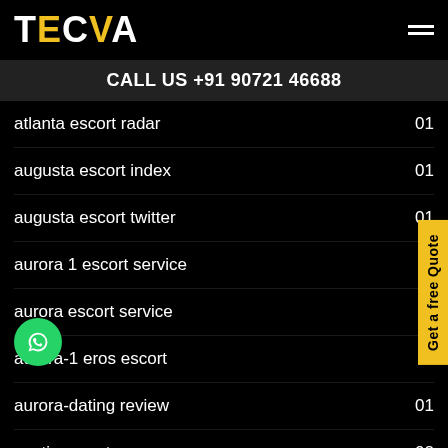TECVA
CALL US +91 90721 46688
atlanta escort radar  01
augusta escort index  01
augusta escort twitter  01
aurora 1 escort service
aurora escort service
aurora-1 eros escort
aurora-dating review  01
austin escort  02
australia-bbw-dating review  01